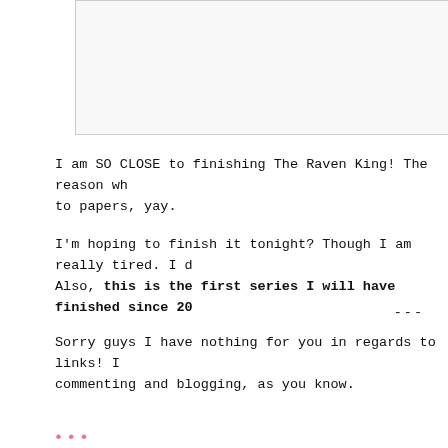[Figure (other): A rectangular image placeholder or embedded image, bordered, positioned at top of page]
I am SO CLOSE to finishing The Raven King! The reason wh to papers, yay.
I'm hoping to finish it tonight? Though I am really tired. I d Also, this is the first series I will have finished since 20
---
Sorry guys I have nothing for you in regards to links! I commenting and blogging, as you know.